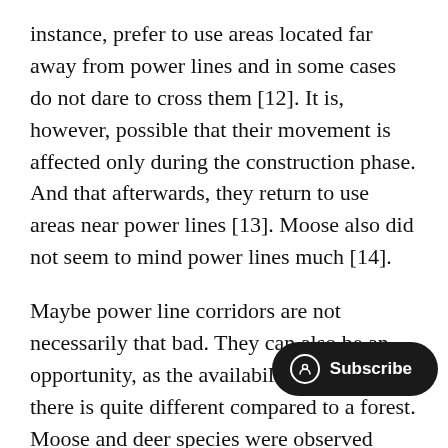instance, prefer to use areas located far away from power lines and in some cases do not dare to cross them [12]. It is, however, possible that their movement is affected only during the construction phase. And that afterwards, they return to use areas near power lines [13]. Moose also did not seem to mind power lines much [14].
Maybe power line corridors are not necessarily that bad. They can also be an opportunity, as the availability of plants there is quite different compared to a forest. Moose and deer species were observed foraging under power lines [6]. Furthermore, one study showed that moose had no preference to either li[...] forests, and even increased its habita[...] clearings [8].